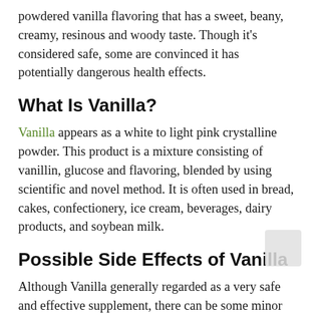powdered vanilla flavoring that has a sweet, beany, creamy, resinous and woody taste. Though it's considered safe, some are convinced it has potentially dangerous health effects.
What Is Vanilla?
Vanilla appears as a white to light pink crystalline powder. This product is a mixture consisting of vanillin, glucose and flavoring, blended by using scientific and novel method. It is often used in bread, cakes, confectionery, ice cream, beverages, dairy products, and soybean milk.
Possible Side Effects of Vanilla
Although Vanilla generally regarded as a very safe and effective supplement, there can be some minor side effects. The side effects may: